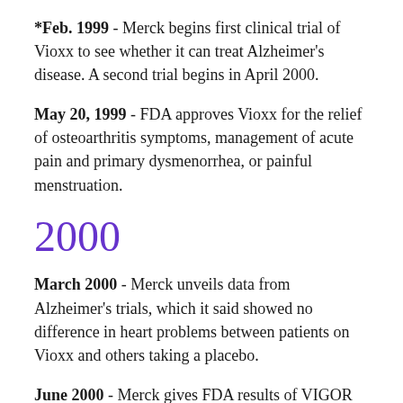*Feb. 1999 - Merck begins first clinical trial of Vioxx to see whether it can treat Alzheimer's disease. A second trial begins in April 2000.
May 20, 1999 - FDA approves Vioxx for the relief of osteoarthritis symptoms, management of acute pain and primary dysmenorrhea, or painful menstruation.
2000
March 2000 - Merck unveils data from Alzheimer's trials, which it said showed no difference in heart problems between patients on Vioxx and others taking a placebo.
June 2000 - Merck gives FDA results of VIGOR study, which shows Vioxx users suffered five times as many heart attacks as users of the older painkiller naproxen,